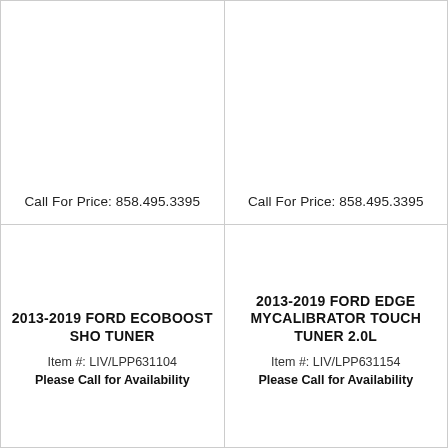Call For Price: 858.495.3395
Call For Price: 858.495.3395
2013-2019 FORD ECOBOOST SHO TUNER
Item #: LIV/LPP631104
Please Call for Availability
2013-2019 FORD EDGE MYCALIBRATOR TOUCH TUNER 2.0L
Item #: LIV/LPP631154
Please Call for Availability